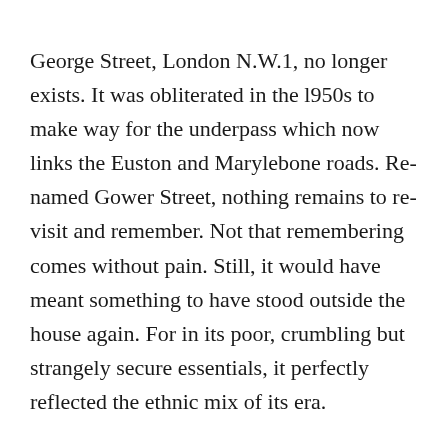George Street, London N.W.1, no longer exists.  It was obliterated in the l950s to make way for the underpass which now links the Euston and Marylebone roads. Renamed Gower Street, nothing remains to re-visit and remember.  Not that remembering comes without pain.   Still, it would have meant something to have stood outside the house again. For in its poor, crumbling but strangely secure essentials, it perfectly reflected the ethnic mix of its era.
At number four George Street lived my parents Simon and Leah. Above us lived the the Poppledorfs, volatile French immigrants who screamed, laughed and otherwise added to the neighbourly noises-off in the tenement experience. Now and again a policeman